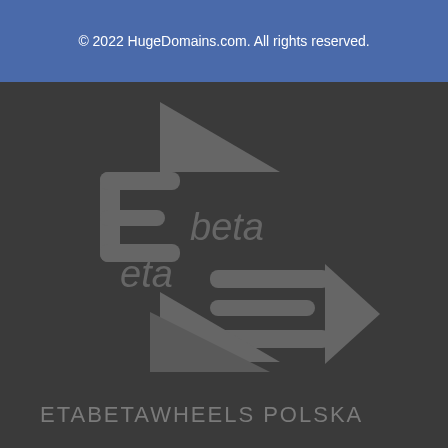© 2022 HugeDomains.com. All rights reserved.
[Figure (logo): Etabetawheels Polska logo — stylized arrow/bolt shape with 'beta' and 'eta' text, rendered in grey on dark background]
ETABETAWHEELS POLSKA